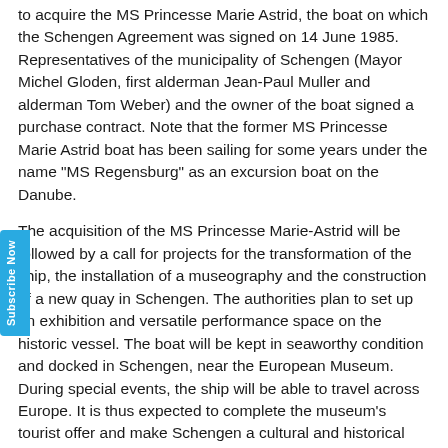to acquire the MS Princesse Marie Astrid, the boat on which the Schengen Agreement was signed on 14 June 1985. Representatives of the municipality of Schengen (Mayor Michel Gloden, first alderman Jean-Paul Muller and alderman Tom Weber) and the owner of the boat signed a purchase contract. Note that the former MS Princesse Marie Astrid boat has been sailing for some years under the name "MS Regensburg" as an excursion boat on the Danube.
The acquisition of the MS Princesse Marie-Astrid will be followed by a call for projects for the transformation of the ship, the installation of a museography and the construction of a new quay in Schengen. The authorities plan to set up an exhibition and versatile performance space on the historic vessel. The boat will be kept in seaworthy condition and docked in Schengen, near the European Museum. During special events, the ship will be able to travel across Europe. It is thus expected to complete the museum's tourist offer and make Schengen a cultural and historical place of high tourist and cultural value, dedicated to the idea of a unified Europe. The completion of this project, the cost of which amounts to €5.81 million, is scheduled for 2025.